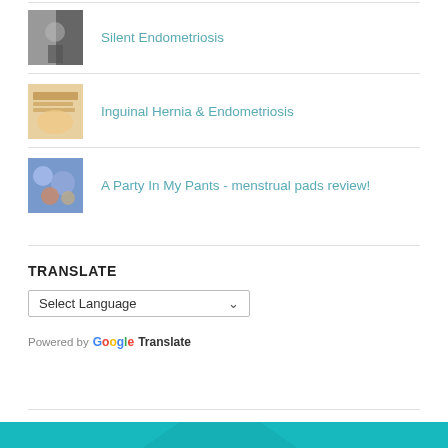Silent Endometriosis
Inguinal Hernia & Endometriosis
A Party In My Pants - menstrual pads review!
TRANSLATE
Select Language
Powered by Google Translate
[Figure (other): Teal banner at bottom of page]